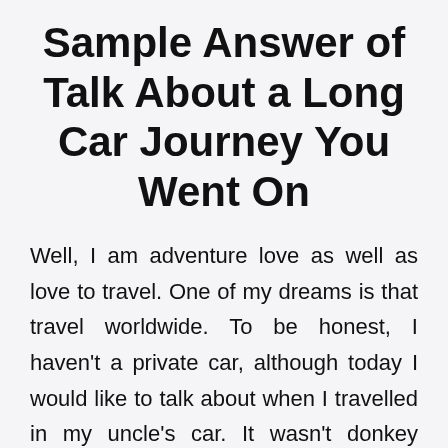Sample Answer of Talk About a Long Car Journey You Went On
Well, I am adventure love as well as love to travel. One of my dreams is that travel worldwide. To be honest, I haven't a private car, although today I would like to talk about when I travelled in my uncle's car. It wasn't donkey years ago, roughly 2 and half years ago before the corona pandemic, it's a Diwali holiday, and